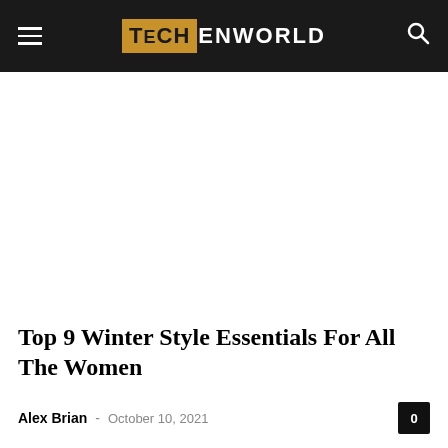TECHENWORLD
[Figure (other): Advertisement or blank white space placeholder below the navigation header]
Top 9 Winter Style Essentials For All The Women
Alex Brian - October 10, 2021